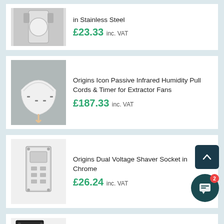[Figure (photo): Partial product image - stainless steel item (top portion cut off)]
in Stainless Steel
£23.33 inc. VAT
[Figure (photo): Origins Icon Passive Infrared Humidity Pull Cords & Timer for Extractor Fans - white curved device with cord]
Origins Icon Passive Infrared Humidity Pull Cords & Timer for Extractor Fans
£187.33 inc. VAT
[Figure (photo): Origins Dual Voltage Shaver Socket in Chrome - rectangular chrome socket with keypad]
Origins Dual Voltage Shaver Socket in Chrome
£26.24 inc. VAT
[Figure (photo): Origins Cover for Air-Stream Pro Extractor Fan in Matt Black - black mounting plate]
Origins Cover for Air-Stream Pro Extractor Fan in Matt Black
£23.33 inc. VAT